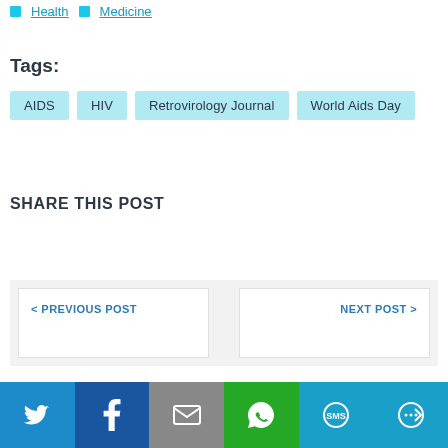Health  Medicine
Tags:
AIDS
HIV
Retrovirology Journal
World Aids Day
SHARE THIS POST
< PREVIOUS POST
NEXT POST >